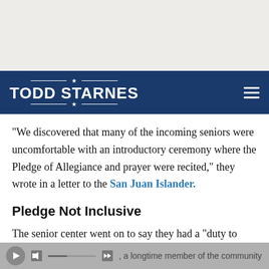[Figure (logo): Todd Starnes website logo — white bold text on dark navy blue navigation bar with hamburger menu icon on the right]
“We discovered that many of the incoming seniors were uncomfortable with an introductory ceremony where the Pledge of Allegiance and prayer were recited,” they wrote in a letter to the San Juan Islander.
Pledge Not Inclusive
The senior center went on to say they had a “duty to provide a safe and peaceful environment in our building and on our property, inclusive to all.”
, a longtime member of the community